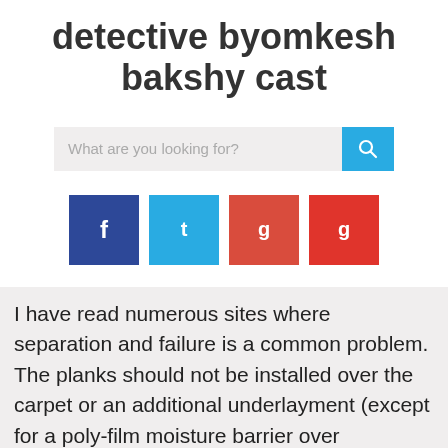detective byomkesh bakshy cast
[Figure (screenshot): Search bar with placeholder text 'What are you looking for?' and a blue search button with magnifying glass icon]
[Figure (infographic): Four social media icon buttons: dark blue Facebook, cyan Twitter, dark red Google+, red Google+]
I have read numerous sites where separation and failure is a common problem. The planks should not be installed over the carpet or an additional underlayment (except for a poly-film moisture barrier over concrete). Dec 22, 2019 - Perfect Manner luxury vinyl tile flooring in Secret Garden color. Did you lay a moisture barrier? Required fields are marked *. My experience with the installation is that these Luxury Vinyl Planks do need to be handled with care, as others have